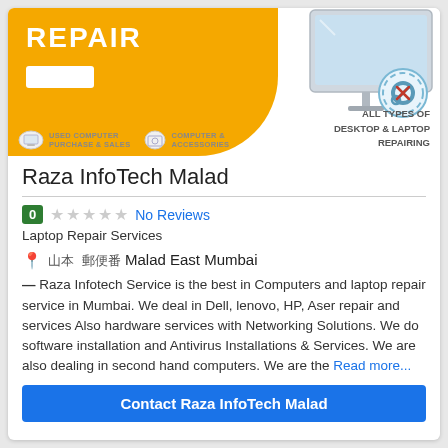[Figure (illustration): Yellow banner with REPAIR text, white box, monitor/computer image on right, gear/settings icon, category icons for Used Computer Purchase & Sales and Computer & Accessories, and text ALL TYPES OF DESKTOP & LAPTOP REPAIRING]
Raza InfoTech Malad
0 ☆☆☆☆☆ No Reviews
Laptop Repair Services
📍 [garbled] Malad East Mumbai
— Raza Infotech Service is the best in Computers and laptop repair service in Mumbai. We deal in Dell, lenovo, HP, Aser repair and services Also hardware services with Networking Solutions. We do software installation and Antivirus Installations & Services. We are also dealing in second hand computers. We are the Read more...
Contact Raza InfoTech Malad